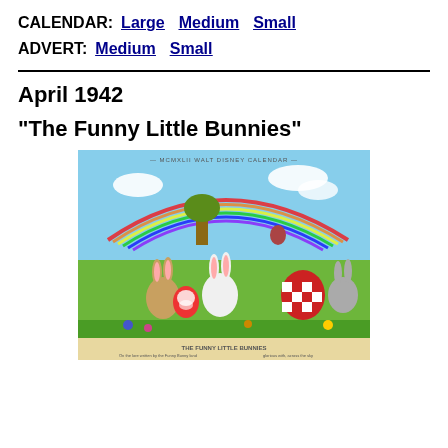CALENDAR: Large  Medium  Small
ADVERT: Medium  Small
April 1942
"The Funny Little Bunnies"
[Figure (illustration): Walt Disney calendar illustration for April 1942 showing cartoon bunnies in a spring/Easter scene with rainbow, eggs, and flowers]